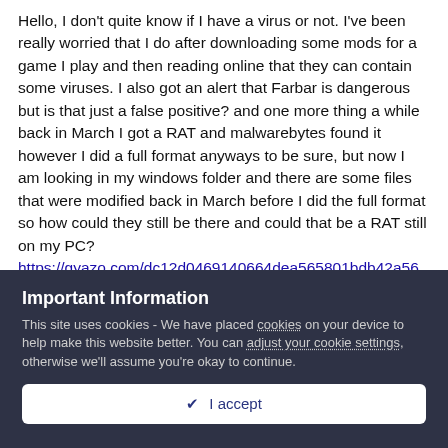Hello, I don't quite know if I have a virus or not. I've been really worried that I do after downloading some mods for a game I play and then reading online that they can contain some viruses. I also got an alert that Farbar is dangerous but is that just a false positive? and one more thing a while back in March I got a RAT and malwarebytes found it however I did a full format anyways to be sure, but now I am looking in my windows folder and there are some files that were modified back in March before I did the full format so how could they still be there and could that be a RAT still on my PC? https://gyazo.com/dc12d0469140664dea565801bdb42a56
Important Information
This site uses cookies - We have placed cookies on your device to help make this website better. You can adjust your cookie settings, otherwise we'll assume you're okay to continue.